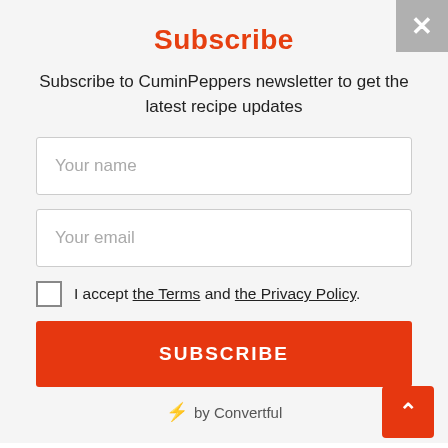Subscribe
Subscribe to CuminPeppers newsletter to get the latest recipe updates
Your name
Your email
I accept the Terms and the Privacy Policy.
SUBSCRIBE
⚡ by Convertful
Recent Posts
spinach recipe | keerai masiyal recipe| keerai kadayal recipe
how to make sambar powder | sambar powder recipe at home